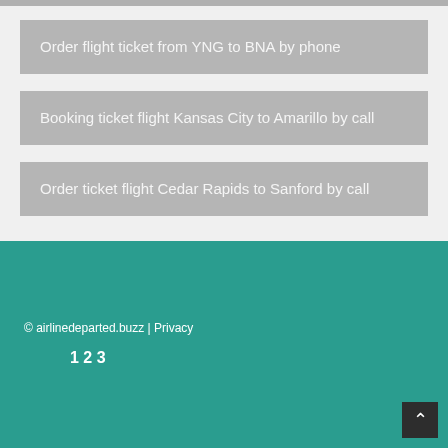Order flight ticket from YNG to BNA by phone
Booking ticket flight Kansas City to Amarillo by call
Order ticket flight Cedar Rapids to Sanford by call
© airlinedeparted.buzz | Privacy
1 2 3